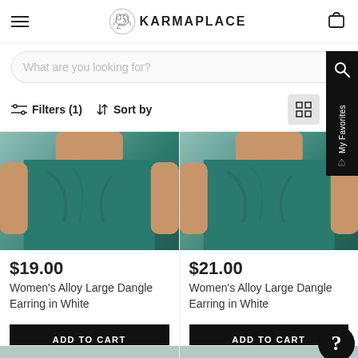KARMAPLACE
What are you looking for?
Filters (1)   Sort by
[Figure (photo): Woman wearing teal/dark green sleeveless top, close-up of neckline and upper body]
$19.00
Women's Alloy Large Dangle Earring in White
ADD TO CART
[Figure (photo): Woman wearing teal/dark green sleeveless top, close-up of neckline and upper body]
$21.00
Women's Alloy Large Dangle Earring in White
ADD TO CART